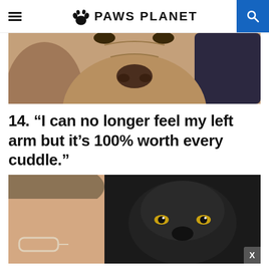PAWS PLANET
[Figure (photo): Close-up photo of a large dog's face and nose, appearing to rest on a bed, photographed from below looking up.]
14. “I can no longer feel my left arm but it’s 100% worth every cuddle.”
[Figure (photo): Person lying down with a small black dog cuddled close. Person has glasses and the small dark-furred dog is nestled against them.]